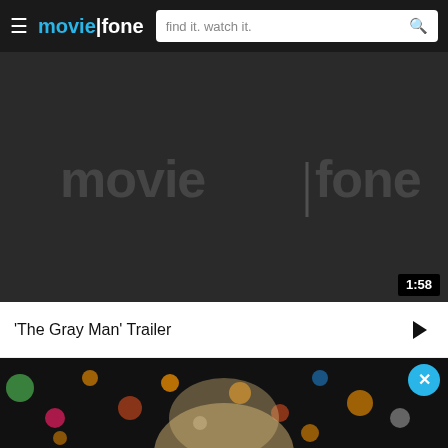moviefone — find it. watch it.
[Figure (screenshot): Moviefone video player thumbnail showing dark background with semi-transparent moviefone watermark logo and 1:58 duration badge in lower right corner]
'The Gray Man' Trailer
[Figure (photo): Photo of a blonde woman with colorful bokeh lights in background, with a cyan X close button in upper right]